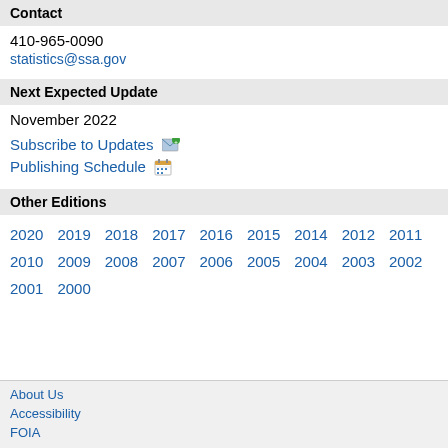Contact
410-965-0090
statistics@ssa.gov
Next Expected Update
November 2022
Subscribe to Updates
Publishing Schedule
Other Editions
2020 2019 2018 2017 2016 2015 2014 2012 2011 2010 2009 2008 2007 2006 2005 2004 2003 2002 2001 2000
About Us
Accessibility
FOIA